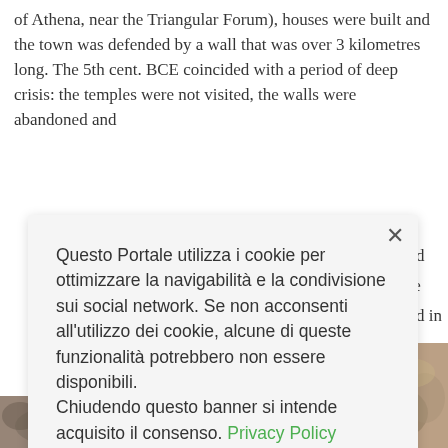of Athena, near the Triangular Forum), houses were built and the town was defended by a wall that was over 3 kilometres long. The 5th cent. BCE coincided with a period of deep crisis: the temples were not visited, the walls were abandoned and [text continues behind modal] ...is ...and ...ine ...and in
[Figure (photo): Partial view of stone/rock texture, visible in bottom-right corner behind the cookie consent modal]
[Figure (photo): Partial view of stone/archaeological material, visible at bottom-left of page]
Questo Portale utilizza i cookie per ottimizzare la navigabilità e la condivisione sui social network. Se non acconsenti all'utilizzo dei cookie, alcune di queste funzionalità potrebbero non essere disponibili.
Chiudendo questo banner si intende acquisito il consenso. Privacy Policy
Declino
Accetto